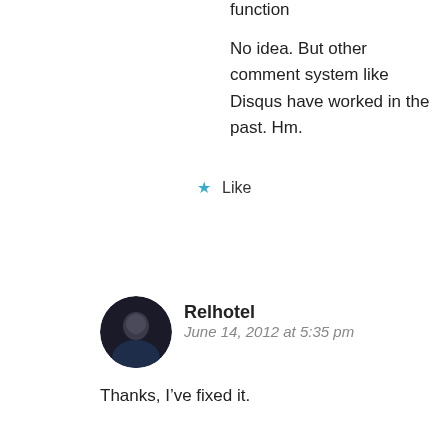function
No idea. But other comment system like Disqus have worked in the past. Hm.
★ Like
Relhotel
June 14, 2012 at 5:35 pm
Thanks, I've fixed it.
★ Like
jeremiah